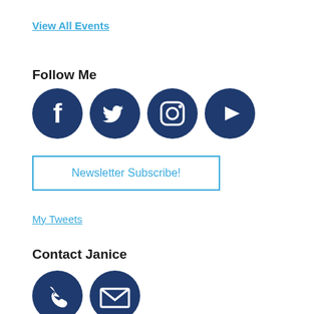View All Events
Follow Me
[Figure (infographic): Four dark blue circle icons for social media: Facebook (f), Twitter (bird), Instagram (camera), YouTube (play button)]
Newsletter Subscribe!
My Tweets
Contact Janice
[Figure (infographic): Two dark blue circle icons: phone/call icon and email/envelope icon]